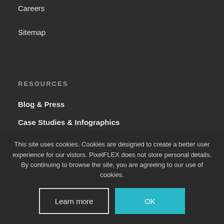Careers
Sitemap
RESOURCES
Blog & Press
Case Studies & Infographics
Product Selection Tool
LED University
This site uses cookies. Cookies are designed to create a better user experience for our vistors. PixelFLEX does not store personal details. By continuing to browse the site, you are agreeing to our use of cookies.
Learn more
OK